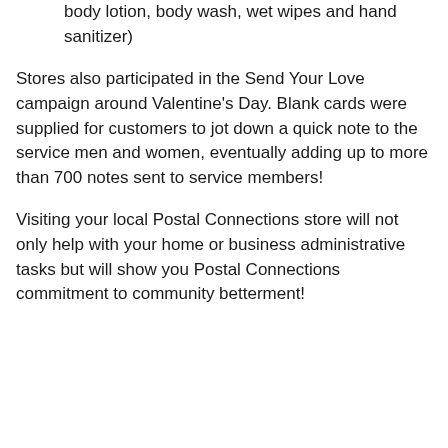body lotion, body wash, wet wipes and hand sanitizer)
Stores also participated in the Send Your Love campaign around Valentine's Day. Blank cards were supplied for customers to jot down a quick note to the service men and women, eventually adding up to more than 700 notes sent to service members!
Visiting your local Postal Connections store will not only help with your home or business administrative tasks but will show you Postal Connections commitment to community betterment!